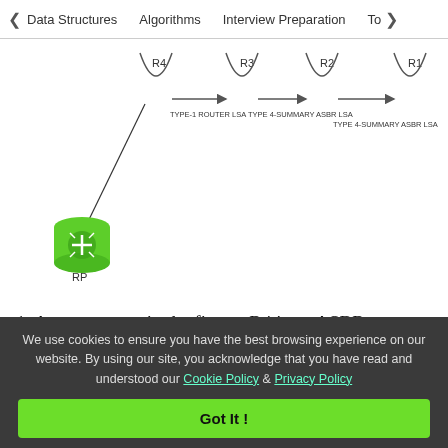< Data Structures   Algorithms   Interview Preparation   To>
[Figure (network-graph): Network diagram showing OSPF LSA propagation: R4 (ASBR) connects via diagonal line to a router icon (RP) at bottom left. Curved U-shapes represent routers R4, R3, R2, R1 from left to right. Arrows between them labeled: TYPE-1 ROUTER LSA (R4 to R3), TYPE 4-SUMMARY ASBR LSA (R3 to R2), TYPE 4-SUMMARY ASBR LSA (R2 to R1). Green router icon labeled RP at bottom left.]
1. As we can see in the figure, R4 is an ASBR therefore to advertise it's own routes to R3, R4 will generate a Type 1 LSA which in turn generate a Type 4 LSA and flood the LSA to all
We use cookies to ensure you have the best browsing experience on our website. By using our site, you acknowledge that you have read and understood our Cookie Policy & Privacy Policy
Got It !